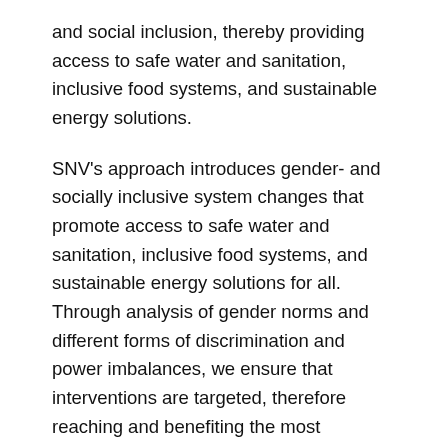and social inclusion, thereby providing access to safe water and sanitation, inclusive food systems, and sustainable energy solutions.
SNV's approach introduces gender- and socially inclusive system changes that promote access to safe water and sanitation, inclusive food systems, and sustainable energy solutions for all. Through analysis of gender norms and different forms of discrimination and power imbalances, we ensure that interventions are targeted, therefore reaching and benefiting the most marginalised segments of the population.
SNV works to strengthen voice, networks, and leadership in the political and public spheres for women, youth, and vulnerable populations. Our interventions also encourage men and women from different backgrounds to reflect on social change and norms in their society, and